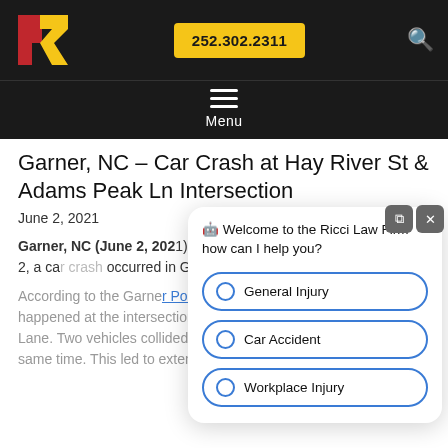[Figure (logo): Ricci Law Firm logo with red R and yellow R on black background]
252.302.2311
[Figure (illustration): Search icon (magnifying glass) in white on black background]
[Figure (illustration): Hamburger menu icon with three horizontal lines and Menu label]
Garner, NC – Car Crash at Hay River St & Adams Peak Ln Intersection
June 2, 2021
Garner, NC (June 2, 2021) – In the morning of Wednesday, June 2, a car crash occurred in Garner.
According to the Garner Police Department, the accident happened at the intersection of Hay River Street and Adams Peak Lane. Two vehicles collided after entering the intersection at the same time. This led to extensive
🤖 Welcome to the Ricci Law Firm how can I help you?
General Injury
Car Accident
Workplace Injury